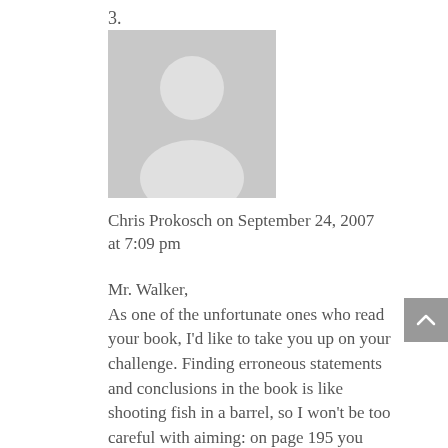3.
[Figure (illustration): Gray placeholder avatar icon showing silhouette of a person (head and shoulders) on a light gray rectangle background]
Chris Prokosch on September 24, 2007 at 7:09 pm
Mr. Walker,
As one of the unfortunate ones who read your book, I’d like to take you up on your challenge. Finding erroneous statements and conclusions in the book is like shooting fish in a barrel, so I won’t be too careful with aiming: on page 195 you write “Despite the millions enslaved and the long period slavery existed in the United States, this author discovered not one single diary by a slave.” With your own words you disprove